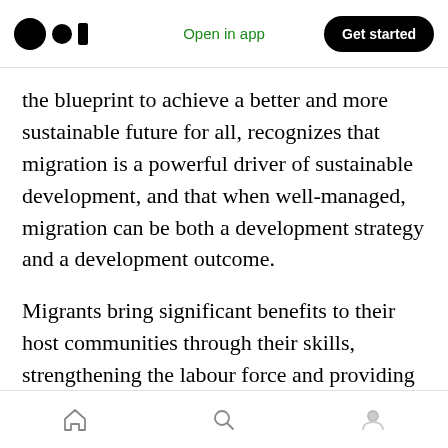Open in app | Get started
the blueprint to achieve a better and more sustainable future for all, recognizes that migration is a powerful driver of sustainable development, and that when well-managed, migration can be both a development strategy and a development outcome.
Migrants bring significant benefits to their host communities through their skills, strengthening the labour force and providing investment, innovation and cultural diversity. They also play a significant role in improving the lives in their countries of origin through the transfer of
Home | Search | Profile